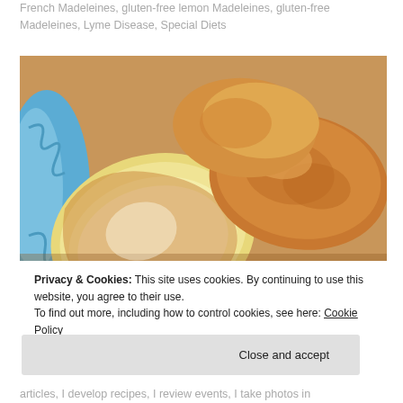French Madeleines, gluten-free lemon Madeleines, gluten-free Madeleines, Lyme Disease, Special Diets
[Figure (photo): Close-up photo of golden-brown French Madeleine cookies piled on a blue ornate plate. One madeleine is cut open showing pale yellow interior.]
Privacy & Cookies: This site uses cookies. By continuing to use this website, you agree to their use.
To find out more, including how to control cookies, see here: Cookie Policy
articles, I develop recipes, I review events, I take photos in